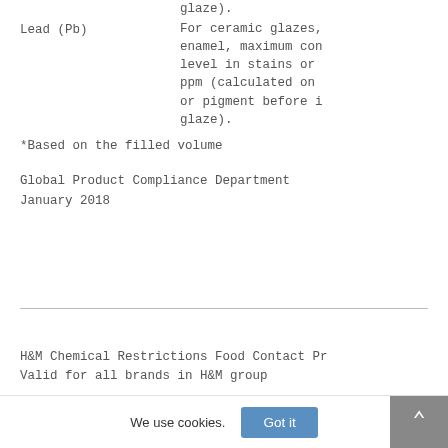glaze).
Lead (Pb)   For ceramic glazes, enamel, maximum con level in stains or ppm (calculated on or pigment before i glaze).
*Based on the filled volume
Global Product Compliance Department
January 2018
H&M Chemical Restrictions Food Contact Pr
Valid for all brands in H&M group